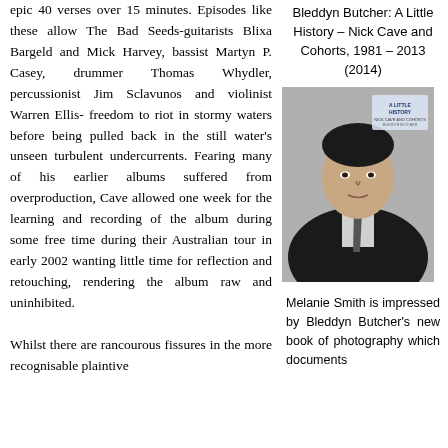epic 40 verses over 15 minutes. Episodes like these allow The Bad Seeds-guitarists Blixa Bargeld and Mick Harvey, bassist Martyn P. Casey, drummer Thomas Whydler, percussionist Jim Sclavunos and violinist Warren Ellis- freedom to riot in stormy waters before being pulled back in the still water's unseen turbulent undercurrents. Fearing many of his earlier albums suffered from overproduction, Cave allowed one week for the learning and recording of the album during some free time during their Australian tour in early 2002 wanting little time for reflection and retouching, rendering the album raw and uninhibited.
Whilst there are rancourous fissures in the more recognisable plaintive
Bleddyn Butcher: A Little History – Nick Cave and Cohorts, 1981 – 2013 (2014)
[Figure (photo): Black and white photo of a young man in a suit and tie, looking intensely at the camera. Book cover for 'A Little History' by Bleddyn Butcher.]
Melanie Smith is impressed by Bleddyn Butcher's new book of photography which documents